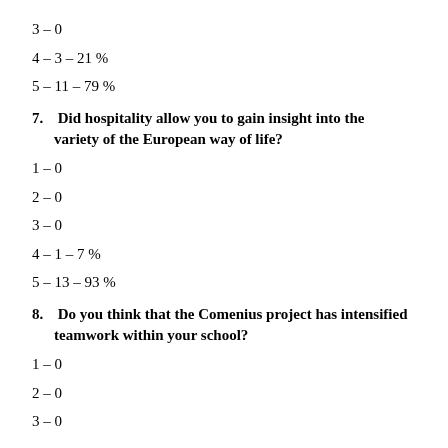3 – 0
4 – 3  – 21 %
5 – 11 – 79 %
7.   Did hospitality allow you to gain insight into the variety of the European way of life?
1 – 0
2 – 0
3 – 0
4 – 1  – 7 %
5 – 13 – 93 %
8.   Do you think that the Comenius project has intensified teamwork within your school?
1 – 0
2 – 0
3 – 0